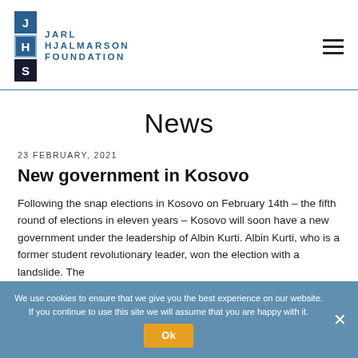[Figure (logo): Jarl Hjalmarson Foundation logo with three stacked letter tiles (J, H, S) and organization name text]
News
23 FEBRUARY, 2021
New government in Kosovo
Following the snap elections in Kosovo on February 14th – the fifth round of elections in eleven years – Kosovo will soon have a new government under the leadership of Albin Kurti. Albin Kurti, who is a former student revolutionary leader, won the election with a landslide. The
We use cookies to ensure that we give you the best experience on our website. If you continue to use this site we will assume that you are happy with it.